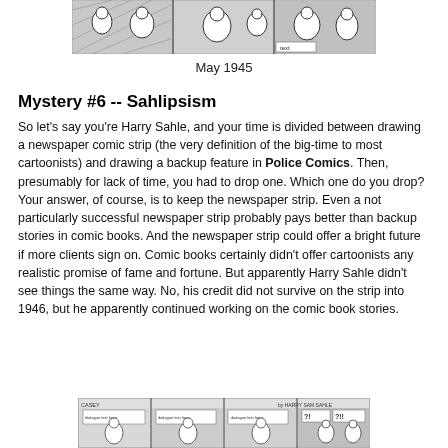[Figure (illustration): Black and white comic strip panels at the top of the page, showing cartoon characters in action scenes]
May 1945
Mystery #6 -- Sahlipsism
So let's say you're Harry Sahle, and your time is divided between drawing a newspaper comic strip (the very definition of the big-time to most cartoonists) and drawing a backup feature in Police Comics. Then, presumably for lack of time, you had to drop one. Which one do you drop? Your answer, of course, is to keep the newspaper strip. Even a not particularly successful newspaper strip probably pays better than backup stories in comic books. And the newspaper strip could offer a bright future if more clients sign on. Comic books certainly didn't offer cartoonists any realistic promise of fame and fortune. But apparently Harry Sahle didn't see things the same way. No, his credit did not survive on the strip into 1946, but he apparently continued working on the comic book stories.
[Figure (illustration): Black and white comic strip panels at the bottom of the page, showing cartoon characters with dialogue bubbles including '?!' and '?!!']